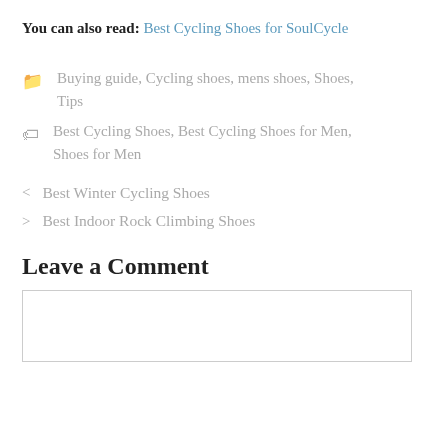You can also read: Best Cycling Shoes for SoulCycle
📁 Buying guide, Cycling shoes, mens shoes, Shoes, Tips
🏷 Best Cycling Shoes, Best Cycling Shoes for Men, Shoes for Men
< Best Winter Cycling Shoes
> Best Indoor Rock Climbing Shoes
Leave a Comment